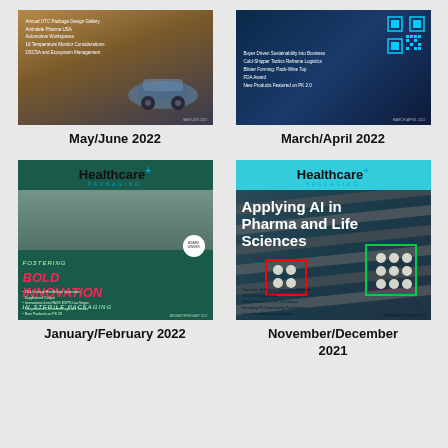[Figure (illustration): Magazine cover for May/June 2022 Healthcare Packaging issue, dark background with car/vehicle imagery]
May/June 2022
[Figure (illustration): Magazine cover for March/April 2022 Healthcare Packaging issue, dark blue background with QR code]
March/April 2022
[Figure (illustration): Magazine cover for January/February 2022 Healthcare Packaging issue, teal background with BOLD INNOVATION IN STERILE PACKAGING text]
January/February 2022
[Figure (illustration): Magazine cover for November/December 2021 Healthcare Packaging issue, teal background with Applying AI in Pharma and Life Sciences text]
November/December 2021